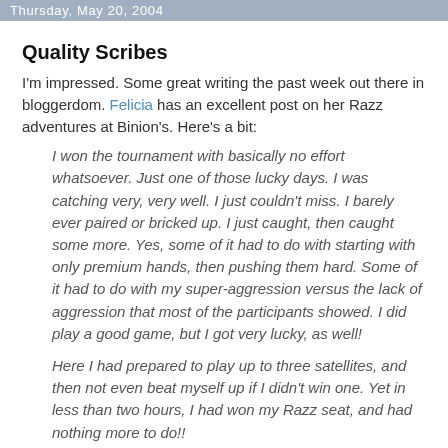Thursday, May 20, 2004
Quality Scribes
I'm impressed. Some great writing the past week out there in bloggerdom. Felicia has an excellent post on her Razz adventures at Binion's. Here's a bit:
I won the tournament with basically no effort whatsoever. Just one of those lucky days. I was catching very, very well. I just couldn't miss. I barely ever paired or bricked up. I just caught, then caught some more. Yes, some of it had to do with starting with only premium hands, then pushing them hard. Some of it had to do with my super-aggression versus the lack of aggression that most of the participants showed. I did play a good game, but I got very lucky, as well!
Here I had prepared to play up to three satellites, and then not even beat myself up if I didn't win one. Yet in less than two hours, I had won my Razz seat, and had nothing more to do!!